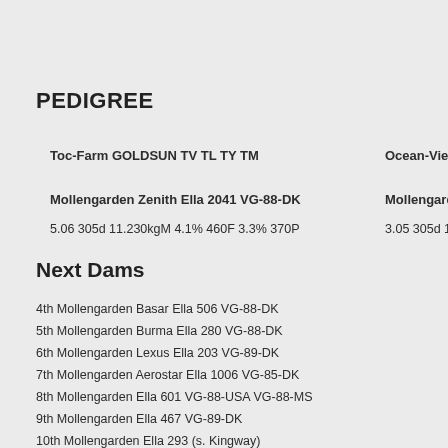PEDIGREE
Toc-Farm GOLDSUN TV TL TY TM
Ocean-View ZENITH
Mollengarden Zenith Ella 2041 VG-88-DK
Mollengarden Lauc
5.06 305d 11.230kgM 4.1% 460F 3.3% 370P
3.05 305d 11.740kgM 3
Next Dams
4th Mollengarden Basar Ella 506 VG-88-DK
5th Mollengarden Burma Ella 280 VG-88-DK
6th Mollengarden Lexus Ella 203 VG-89-DK
7th Mollengarden Aerostar Ella 1006 VG-85-DK
8th Mollengarden Ella 601 VG-88-USA VG-88-MS
9th Mollengarden Ella 467 VG-89-DK
10th Mollengarden Ella 293 (s. Kingway)
11th Mollengarden Ella 207 (s. Gay Ideal)